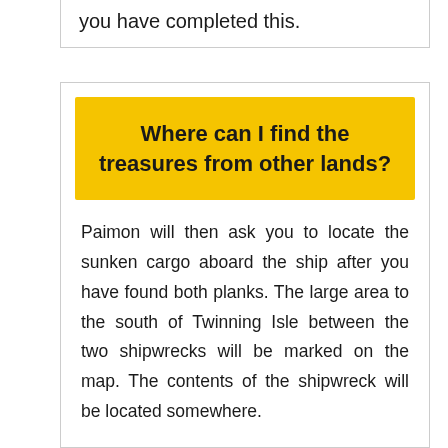you have completed this.
Where can I find the treasures from other lands?
Paimon will then ask you to locate the sunken cargo aboard the ship after you have found both planks. The large area to the south of Twinning Isle between the two shipwrecks will be marked on the map. The contents of the shipwreck will be located somewhere.